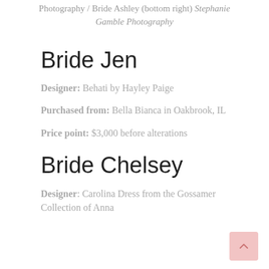Photography / Bride Ashley (bottom right) Stephanie Gamble Photography
Bride Jen
Designer:  Behati by Hayley Paige
Purchased from: Bella Bianca in Oakbrook, IL
Price point: $3,000 before alterations
Bride Chelsey
Designer: Carolina Dress from the Gossamer Collection of Anna